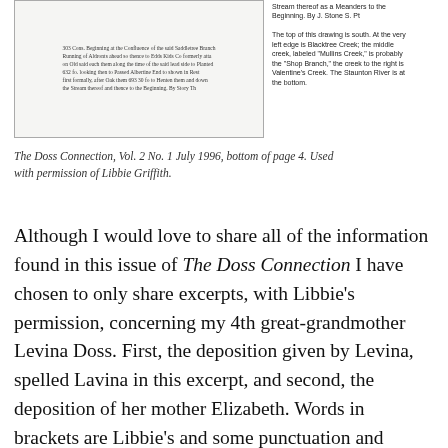[Figure (photo): Scanned handwritten document (cursive script) shown in a bordered box on the left, alongside a smaller printed text caption on the right describing the top of the drawing as south, mentioning Blacktree Creek, Mullins Creek, Shop Branch, Valentine's Creek, and the Staunton River at the bottom.]
The Doss Connection, Vol. 2 No. 1 July 1996, bottom of page 4. Used with permission of Libbie Griffith.
Although I would love to share all of the information found in this issue of The Doss Connection I have chosen to only share excerpts, with Libbie's permission, concerning my 4th great-grandmother Levina Doss. First, the deposition given by Levina, spelled Lavina in this excerpt, and second, the deposition of her mother Elizabeth. Words in brackets are Libbie's and some punctuation and spelling corrections were made for easier reading but doesn't change the meaning: